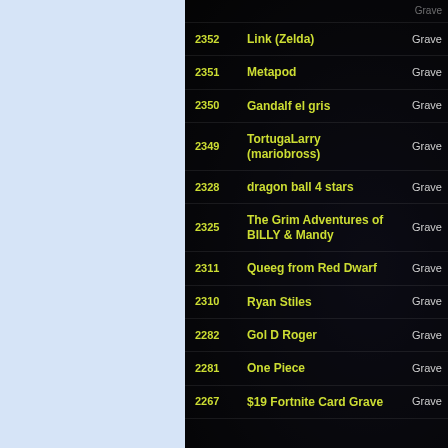| # | Name | Type |
| --- | --- | --- |
| 2352 | Link (Zelda) | Grave |
| 2351 | Metapod | Grave |
| 2350 | Gandalf el gris | Grave |
| 2349 | TortugaLarry (mariobross) | Grave |
| 2328 | dragon ball 4 stars | Grave |
| 2325 | The Grim Adventures of BILLY & Mandy | Grave |
| 2311 | Queeg from Red Dwarf | Grave |
| 2310 | Ryan Stiles | Grave |
| 2282 | Gol D Roger | Grave |
| 2281 | One Piece | Grave |
| 2267 | $19 Fortnite Card Grave | Grave |